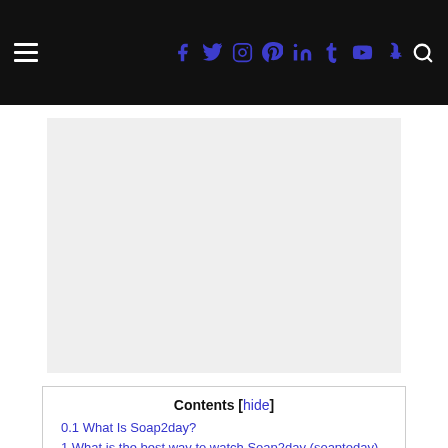Navigation bar with hamburger menu, social icons (f, twitter, instagram, pinterest, linkedin, tumblr, youtube, snapchat), and search icon
[Figure (other): Gray advertisement placeholder block]
Contents [hide]
0.1 What Is Soap2day?
1 What is the best way to watch Soap2day (soaptoday) legal